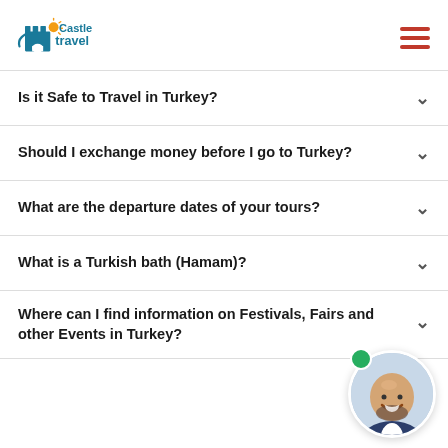Castle Travel
Is it Safe to Travel in Turkey?
Should I exchange money before I go to Turkey?
What are the departure dates of your tours?
What is a Turkish bath (Hamam)?
Where can I find information on Festivals, Fairs and other Events in Turkey?
[Figure (photo): Circular avatar photo of a smiling bald man with a beard, wearing a suit. A green online indicator dot is shown above the avatar.]